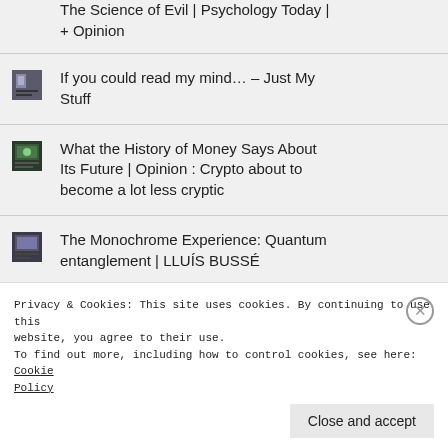The Science of Evil | Psychology Today | + Opinion
If you could read my mind… – Just My Stuff
What the History of Money Says About Its Future | Opinion : Crypto about to become a lot less cryptic
The Monochrome Experience: Quantum entanglement | LLUÍS BUSSÉ
Privacy & Cookies: This site uses cookies. By continuing to use this website, you agree to their use.
To find out more, including how to control cookies, see here: Cookie Policy